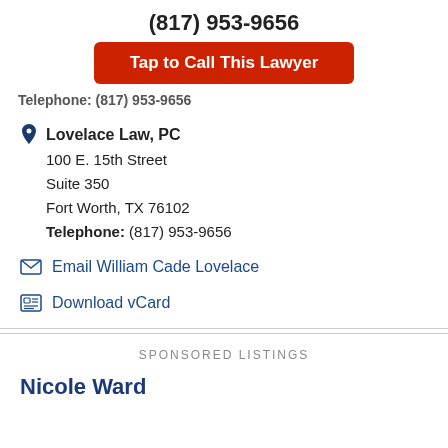(817) 953-9656
Tap to Call This Lawyer
Telephone: (817) 953-9656
Lovelace Law, PC
100 E. 15th Street
Suite 350
Fort Worth, TX 76102
Telephone: (817) 953-9656
Email William Cade Lovelace
Download vCard
SPONSORED LISTINGS
Nicole Ward